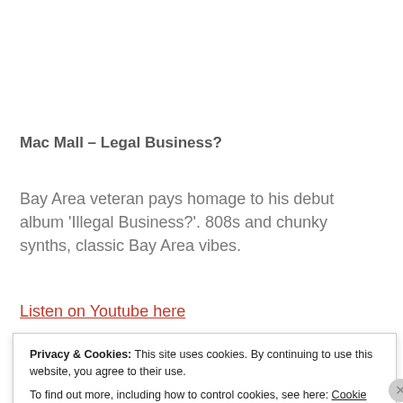Mac Mall – Legal Business?
Bay Area veteran pays homage to his debut album 'Illegal Business?'. 808s and chunky synths, classic Bay Area vibes.
Listen on Youtube here
Privacy & Cookies: This site uses cookies. By continuing to use this website, you agree to their use. To find out more, including how to control cookies, see here: Cookie Policy
Close and accept